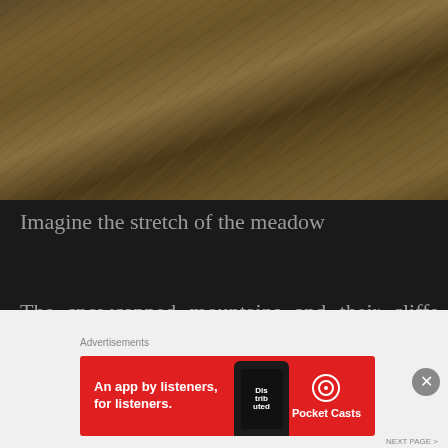[Figure (photo): Aerial or hillside view of a dry mountain meadow with golden-brown grass and sandy soil, showing texture and terrain ridges]
Imagine the stretch of the meadow
The snowcapped mountains and their cliffs were visible now. We could feel the magical effect of the Himalayas. Just by seeing those mighty mountains, all our tiredness disappeared in a while.
[Figure (other): Advertisement banner: 'Advertisements' label above a red Pocket Casts banner reading 'An app by listeners, for listeners.' with a phone image and Pocket Casts logo]